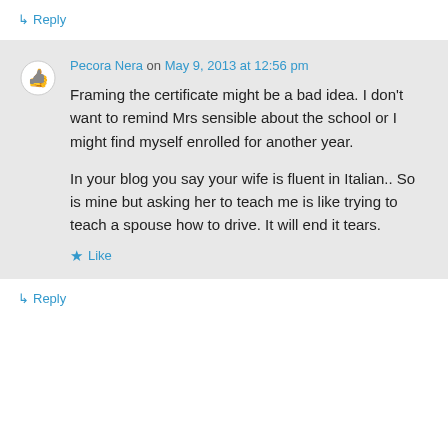↳ Reply
Pecora Nera on May 9, 2013 at 12:56 pm
Framing the certificate might be a bad idea. I don't want to remind Mrs sensible about the school or I might find myself enrolled for another year.

In your blog you say your wife is fluent in Italian.. So is mine but asking her to teach me is like trying to teach a spouse how to drive. It will end it tears.
★ Like
↳ Reply